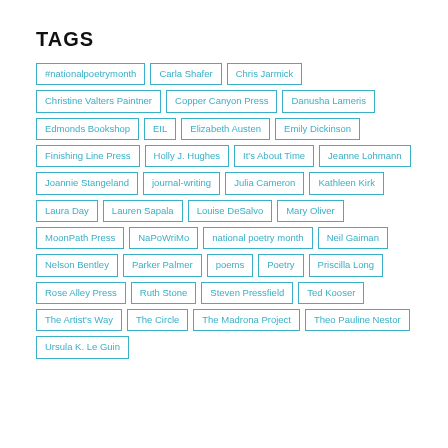TAGS
#nationalpoetrymonth
Carla Shafer
Chris Jarmick
Christine Valters Paintner
Copper Canyon Press
Danusha Lameris
Edmonds Bookshop
EIL
Elizabeth Austen
Emily Dickinson
Finishing Line Press
Holly J. Hughes
It's About Time
Jeanne Lohmann
Joannie Stangeland
journal-writing
Julia Cameron
Kathleen Kirk
Laura Day
Lauren Sapala
Louise DeSalvo
Mary Oliver
MoonPath Press
NaPoWriMo
national poetry month
Neil Gaiman
Nelson Bentley
Parker Palmer
poems
Poetry
Priscilla Long
Rose Alley Press
Ruth Stone
Steven Pressfield
Ted Kooser
The Artist's Way
The Circle
The Madrona Project
Theo Pauline Nestor
Ursula K. Le Guin